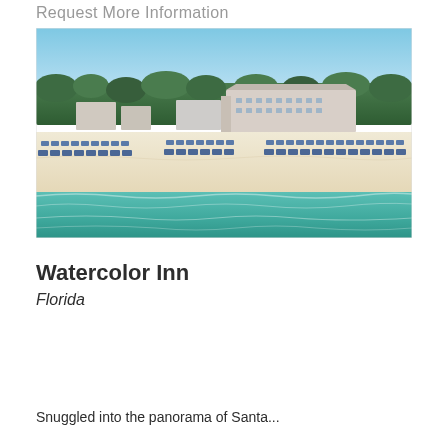Request More Information
[Figure (photo): Aerial view of Watercolor Inn resort in Florida, showing a large beachfront hotel building surrounded by green trees, white sandy beach with rows of blue beach chairs and umbrellas, and turquoise Gulf of Mexico water in the foreground.]
Watercolor Inn
Florida
Snuggled into the panorama of Santa...